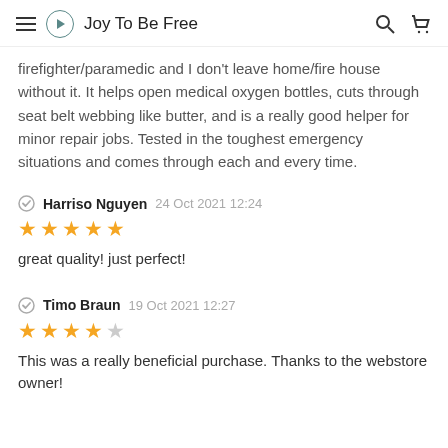Joy To Be Free
firefighter/paramedic and I don't leave home/fire house without it. It helps open medical oxygen bottles, cuts through seat belt webbing like butter, and is a really good helper for minor repair jobs. Tested in the toughest emergency situations and comes through each and every time.
Harriso Nguyen 24 Oct 2021 12:24 ★★★★★ great quality! just perfect!
Timo Braun 19 Oct 2021 12:27 ★★★★☆ This was a really beneficial purchase. Thanks to the webstore owner!